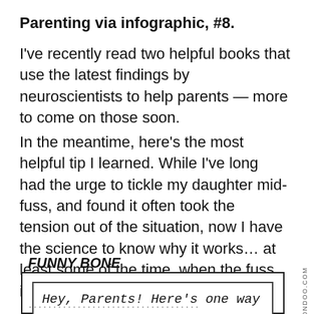Parenting via infographic, #8.
I've recently read two helpful books that use the latest findings by neuroscientists to help parents — more to come on those soon.
In the meantime, here's the most helpful tip I learned. While I've long had the urge to tickle my daughter mid-fuss, and found it often took the tension out of the situation, now I have the science to know why it works… at least some of the time, when the fuss is basically over nothing much at all.
FUNNY BONE
[Figure (infographic): Infographic box with outer and inner border containing italic monospace text: Hey, Parents! Here's one way to turn that frown upside down, literally....]